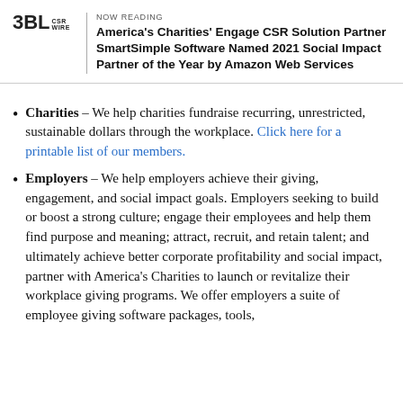NOW READING
America's Charities' Engage CSR Solution Partner SmartSimple Software Named 2021 Social Impact Partner of the Year by Amazon Web Services
Charities – We help charities fundraise recurring, unrestricted, sustainable dollars through the workplace. Click here for a printable list of our members.
Employers – We help employers achieve their giving, engagement, and social impact goals. Employers seeking to build or boost a strong culture; engage their employees and help them find purpose and meaning; attract, recruit, and retain talent; and ultimately achieve better corporate profitability and social impact, partner with America's Charities to launch or revitalize their workplace giving programs. We offer employers a suite of employee giving software packages, tools,